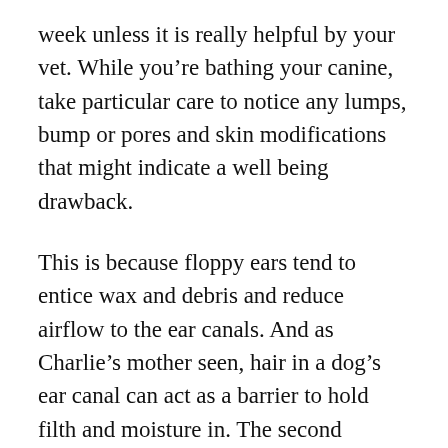week unless it is really helpful by your vet. While you're bathing your canine, take particular care to notice any lumps, bump or pores and skin modifications that might indicate a well being drawback.
This is because floppy ears tend to entice wax and debris and reduce airflow to the ear canals. And as Charlie's mother seen, hair in a dog's ear canal can act as a barrier to hold filth and moisture in. The second methodology works properly for the dogs who don't like the feeling of ear wash going into their ears. Instead of pouring the cleaner into the ear canal